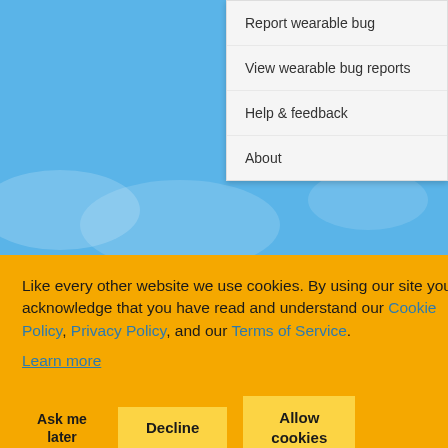[Figure (screenshot): Screenshot of a mobile app showing a dropdown menu with options: Report wearable bug, View wearable bug reports, Help & feedback, About. Background shows a blue sky with clouds.]
Essential watch apps
[Figure (screenshot): Row of app icons: Google Maps, Google Fit (heart icon), Google Keep (lightbulb icon)]
Like every other website we use cookies. By using our site you acknowledge that you have read and understand our Cookie Policy, Privacy Policy, and our Terms of Service.
Learn more
Ask me later
Decline
Allow cookies
emulator.